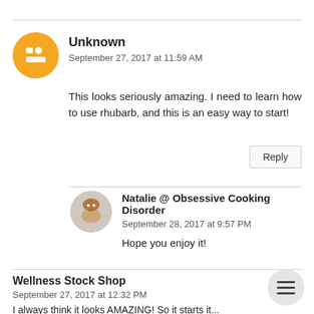Unknown
September 27, 2017 at 11:59 AM
This looks seriously amazing. I need to learn how to use rhubarb, and this is an easy way to start!
Reply
Natalie @ Obsessive Cooking Disorder
September 28, 2017 at 9:57 PM
Hope you enjoy it!
Wellness Stock Shop
September 27, 2017 at 12:32 PM
I always think it looks AMAZING! So it starts it...